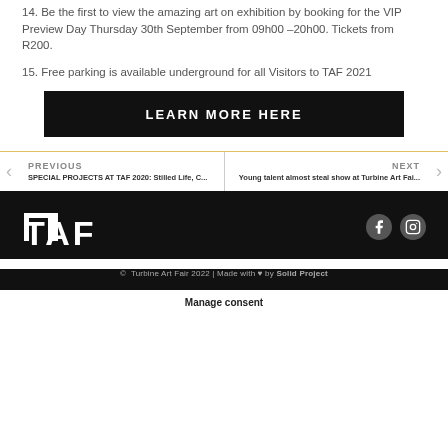14. Be the first to view the amazing art on exhibition by booking for the VIP Preview Day Thursday 30th September from 09h00 –20h00. Tickets from R200.
15. Free parking is available underground for all Visitors to TAF 2021
[Figure (other): Black button with text LEARN MORE HERE]
PREVIOUS
SPECIAL PROJECTS AT TAF 2020: Stilled Life, C...
NEXT
Young talent almost steal show at Turbine Art Fai...
[Figure (logo): TAF logo in white on black background with Facebook and Instagram icons]
© Turbine Art Fair 2022 | Made with ♥ by Solid Project
Manage consent